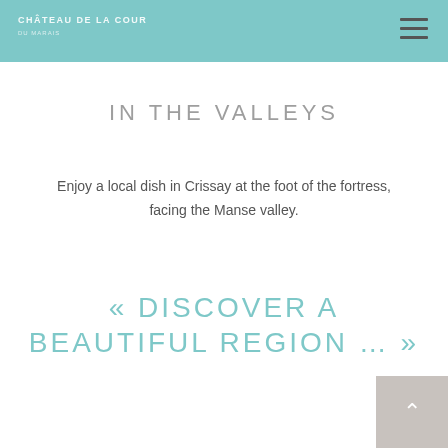Château De La Cour
IN THE VALLEYS
Enjoy a local dish in Crissay at the foot of the fortress, facing the Manse valley.
« DISCOVER A BEAUTIFUL REGION … »